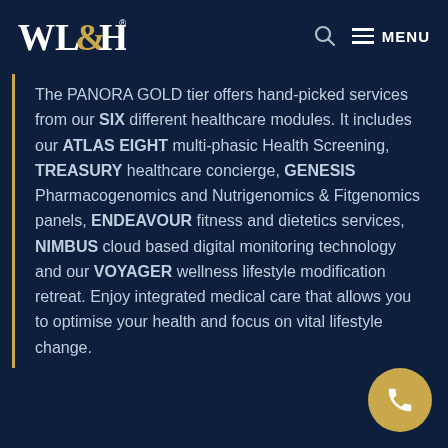WL&H — MENU
The PANORA GOLD tier offers hand-picked services from our SIX different healthcare modules. It includes our ATLAS EIGHT multi-phasic Health Screening, TREASURY healthcare concierge, GENESIS Pharmacogenomics and Nutrigenomics & Fitgenomics panels, ENDEAVOUR fitness and dietetics services, NIMBUS cloud based digital monitoring technology and our VOYAGER wellness lifestyle modification retreat. Enjoy integrated medical care that allows you to optimise your health and focus on vital lifestyle change.